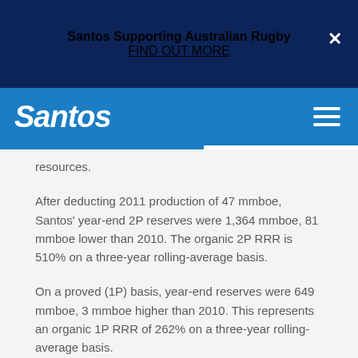Santos Supporting Australian Rugby
FIND OUT MORE
[Figure (logo): Santos company logo in white italic text on blue navigation bar]
resources.
After deducting 2011 production of 47 mmboe, Santos' year-end 2P reserves were 1,364 mmboe, 81 mmboe lower than 2010. The organic 2P RRR is 510% on a three-year rolling-average basis.
On a proved (1P) basis, year-end reserves were 649 mmboe, 3 mmboe higher than 2010. This represents an organic 1P RRR of 262% on a three-year rolling-average basis.